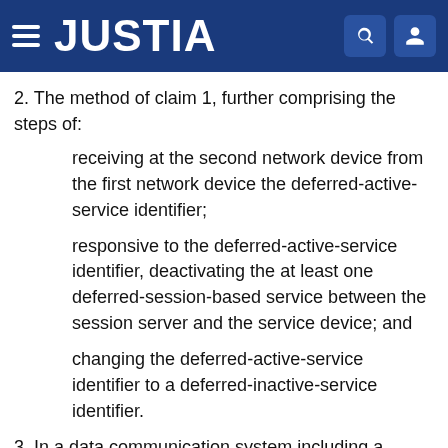JUSTIA
2. The method of claim 1, further comprising the steps of:
receiving at the second network device from the first network device the deferred-active-service identifier;
responsive to the deferred-active-service identifier, deactivating the at least one deferred-session-based service between the session server and the service device; and
changing the deferred-active-service identifier to a deferred-inactive-service identifier.
3. In a data communication system including a plurality of network devices, wherein the plurality of network devices includes first and second network devices, and